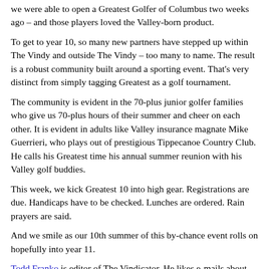we were able to open a Greatest Golfer of Columbus two weeks ago – and those players loved the Valley-born product.
To get to year 10, so many new partners have stepped up within The Vindy and outside The Vindy – too many to name. The result is a robust community built around a sporting event. That's very distinct from simply tagging Greatest as a golf tournament.
The community is evident in the 70-plus junior golfer families who give us 70-plus hours of their summer and cheer on each other. It is evident in adults like Valley insurance magnate Mike Guerrieri, who plays out of prestigious Tippecanoe Country Club. He calls his Greatest time his annual summer reunion with his Valley golf buddies.
This week, we kick Greatest 10 into high gear. Registrations are due. Handicaps have to be checked. Lunches are ordered. Rain prayers are said.
And we smile as our 10th summer of this by-chance event rolls on hopefully into year 11.
Todd Franko is editor of The Vindicator. He likes e-mails about stories and our newspaper. E-mail him at tfranko@vindy.com. Tweet him, too, at @tfranko.